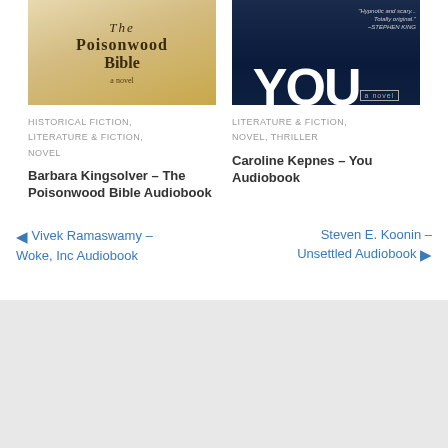[Figure (photo): Book cover of The Poisonwood Bible - tan/golden background with serif text]
[Figure (photo): Book cover of YOU novel - dark blue background with large white YOU text and blurred face, Stephen King quote]
HISTORICAL FICTION, LITERATURE & FICTION, NOVEL
LITERATURE & FICTION, NOVEL, THRILLER
Barbara Kingsolver – The Poisonwood Bible Audiobook
Caroline Kepnes – You Audiobook
◀ Vivek Ramaswamy – Woke, Inc Audiobook
Steven E. Koonin – Unsettled Audiobook ▶